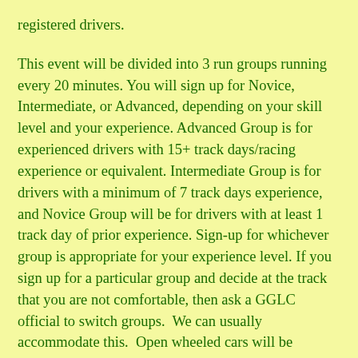registered drivers.
This event will be divided into 3 run groups running every 20 minutes. You will sign up for Novice, Intermediate, or Advanced, depending on your skill level and your experience. Advanced Group is for experienced drivers with 15+ track days/racing experience or equivalent. Intermediate Group is for drivers with a minimum of 7 track days experience, and Novice Group will be for drivers with at least 1 track day of prior experience. Sign-up for whichever group is appropriate for your experience level. If you sign up for a particular group and decide at the track that you are not comfortable, then ask a GGLC official to switch groups.  We can usually accommodate this.  Open wheeled cars will be allowed only in the Advanced Group.
We have a limited number of openings for Beginner